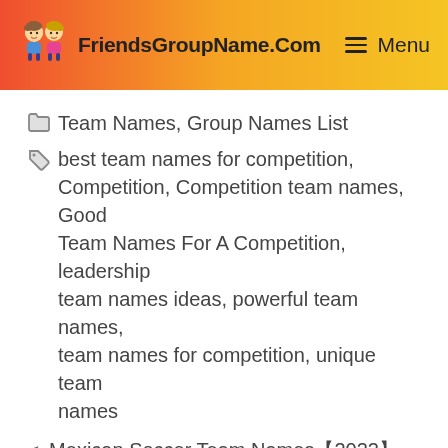FriendsGroupName.Com | Menu
Team Names, Group Names List
best team names for competition, Competition, Competition team names, Good Team Names For A Competition, leadership team names ideas, powerful team names, team names for competition, unique team names
< Mexican Soccer Team Names【2022】Funny & Good Team List
> Funny Team Names For Work | List Of Good, Catchy & Clever Names